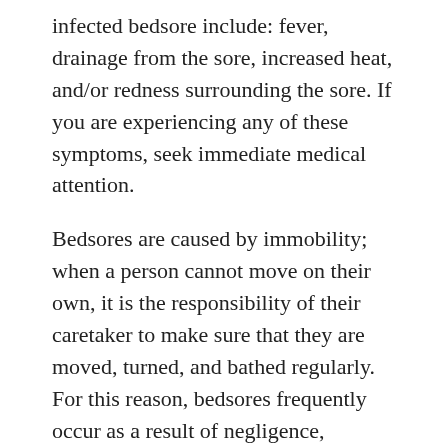infected bedsore include: fever, drainage from the sore, increased heat, and/or redness surrounding the sore. If you are experiencing any of these symptoms, seek immediate medical attention.
Bedsores are caused by immobility; when a person cannot move on their own, it is the responsibility of their caretaker to make sure that they are moved, turned, and bathed regularly. For this reason, bedsores frequently occur as a result of negligence, typically in rehab facilities, hospitals, long term care facilities, or nursing homes.
If you or a loved one is suffering from bedsores due to insufficient attention or the carelessness of a healthcare facility, contact the New York nursing home abuse and